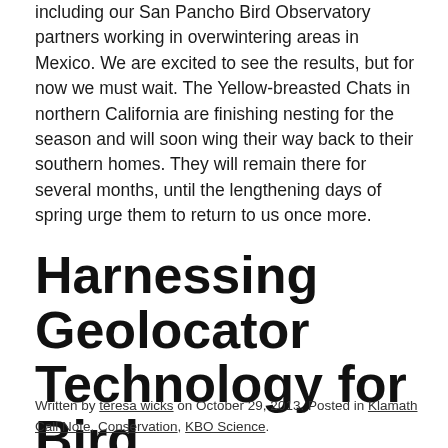including our San Pancho Bird Observatory partners working in overwintering areas in Mexico. We are excited to see the results, but for now we must wait. The Yellow-breasted Chats in northern California are finishing nesting for the season and will soon wing their way back to their southern homes. They will remain there for several months, until the lengthening days of spring urge them to return to us once more.
Harnessing Geolocator Technology for Bird Conservation
Written by teresa wicks on October 29, 2013. Posted in Klamath Call Note, Conservation, KBO Science.